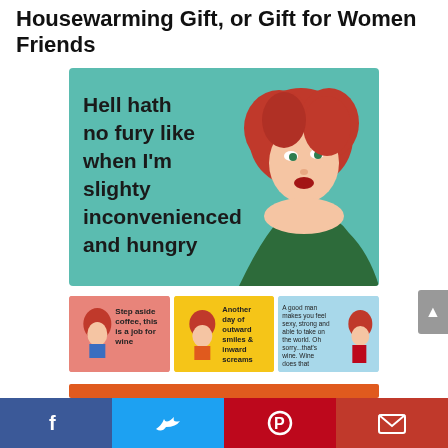Housewarming Gift, or Gift for Women Friends
[Figure (illustration): Retro pin-up style illustration on teal background with text: 'Hell hath no fury like when I'm slighty inconvenienced and hungry'. Features a red-haired woman in green dress.]
[Figure (illustration): Three thumbnail images: 1) Pink background with red-haired woman, text 'Step aside coffee, this is a job for wine'; 2) Yellow background with woman, text 'Another day of outward smiles & inward screams'; 3) Blue background with red-dressed woman, text 'A good man makes you feel sexy, strong and able to take on the world. Oh sorry...that's wine. Wine does that.']
[Figure (illustration): Partial orange bar visible at bottom of content area. Social sharing bar with Facebook, Twitter, Pinterest, and Email buttons.]